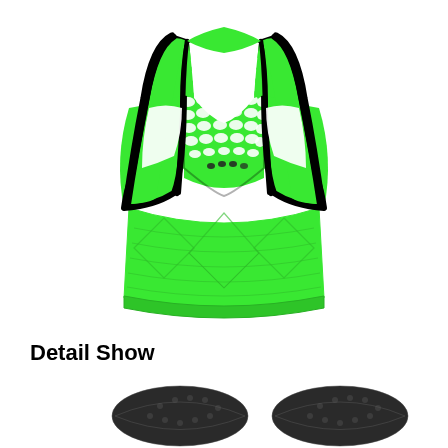[Figure (photo): Green sports bra with mesh racerback design and black trim, shown from the back. The upper portion has a fishnet/mesh texture in bright green with black outline straps forming a racerback opening. The lower band area is solid bright green with a quilted/textured diamond pattern.]
Detail Show
[Figure (photo): Two black sports bra padding inserts shown close-up, with textured surface visible.]